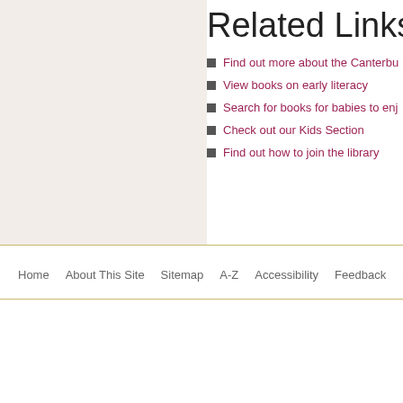Related Links
Find out more about the Canterbury
View books on early literacy
Search for books for babies to enjoy
Check out our Kids Section
Find out how to join the library
Home   About This Site   Sitemap   A-Z   Accessibility   Feedback   Co